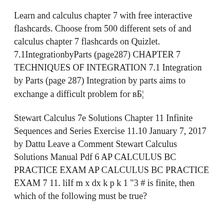Learn and calculus chapter 7 with free interactive flashcards. Choose from 500 different sets of and calculus chapter 7 flashcards on Quizlet. 7.1IntegrationbyParts (page287) CHAPTER 7 TECHNIQUES OF INTEGRATION 7.1 Integration by Parts (page 287) Integration by parts aims to exchange a difficult problem for вБ¦
Stewart Calculus 7e Solutions Chapter 11 Infinite Sequences and Series Exercise 11.10 January 7, 2017 by Dattu Leave a Comment Stewart Calculus Solutions Manual Pdf 6 AP CALCULUS BC PRACTICE EXAM AP CALCULUS BC PRACTICE EXAM 7 11. liIf m x dx k p k 1 "3 # is finite, then which of the following must be true?